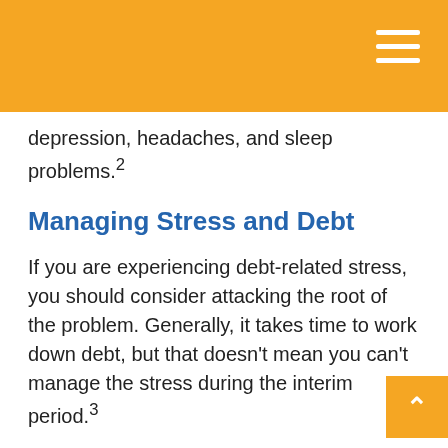depression, headaches, and sleep problems.²
Managing Stress and Debt
If you are experiencing debt-related stress, you should consider attacking the root of the problem. Generally, it takes time to work down debt, but that doesn't mean you can't manage the stress during the interim period.³
Developing a strategy to eliminate your debt is the first step to lowering stress, since the sense of control that a strategy gives you might furnish you with hope and optimism.
It's also important that you keep your debt worries in perspective. Remind yourself that debt may not permanently ruin your life. Writing in a journal can be